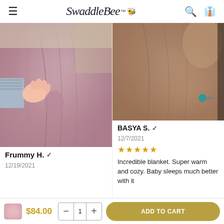SwaddleBee — navigation header with hamburger menu, logo, search, and cart icons
[Figure (photo): Photo of pink/mauve velvet baby blanket being held, showing soft fabric texture with a baby hand visible and a blue striped sleeve]
Frummy H. ✓
12/19/2021
[Figure (photo): Photo of a peach/tan colored soft blanket with wrinkled fabric texture, small teal circular object visible in lower right]
BASYA S. ✓
12/7/2021
★★★★★
Incredible blanket. Super warm and cozy. Baby sleeps much better with it
$84.00
ADD TO CART